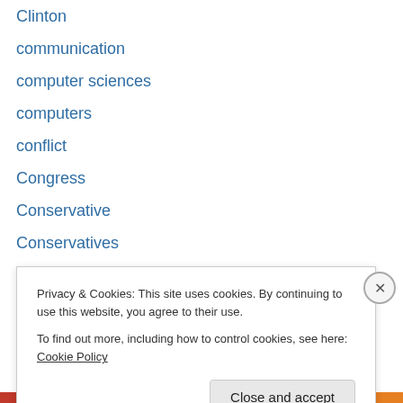Clinton
communication
computer sciences
computers
conflict
Congress
Conservative
Conservatives
conspiracy
Constitution
COP 21
copyright
corporate
Privacy & Cookies: This site uses cookies. By continuing to use this website, you agree to their use.
To find out more, including how to control cookies, see here: Cookie Policy